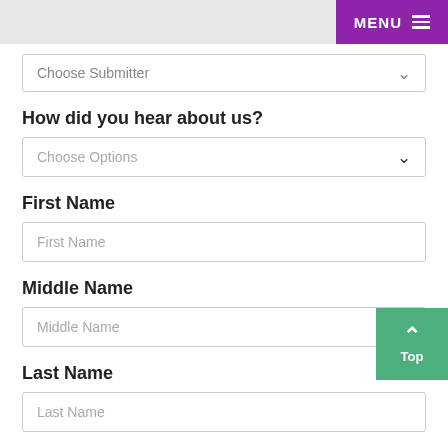MENU
Choose Submitter
How did you hear about us?
Choose Options
First Name
First Name
Middle Name
Middle Name
Last Name
Last Name
Primary E-mail
Primary E-mail